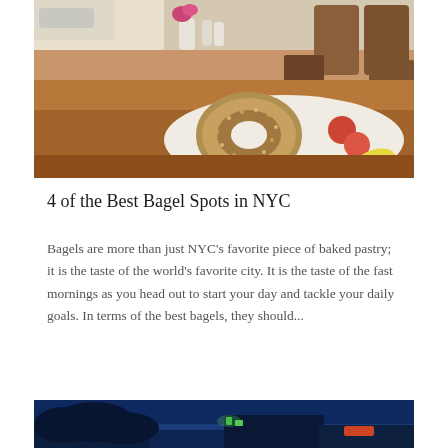[Figure (photo): A close-up photo of a bagel on a white plate with tomatoes and lemon wedges on a wooden café table. A small vase with pink flowers and salt/pepper shakers are visible in the background, with wooden chairs out of focus.]
4 of the Best Bagel Spots in NYC
Bagels are more than just NYC's favorite piece of baked pastry; it is the taste of the world's favorite city. It is the taste of the fast mornings as you head out to start your day and tackle your daily goals. In terms of the best bagels, they should...
[Figure (photo): A nighttime exterior photo of a building with blue-lit sky and illuminated window signs, partially cut off at the bottom of the page.]